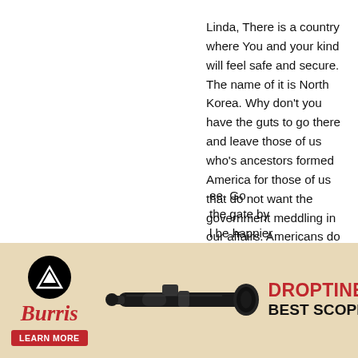Linda, There is a country where You and your kind will feel safe and secure. The name of it is North Korea. Why don't you have the guts to go there and leave those of us who's ancestors formed America for those of us that do not want the government meddling in our affairs. Americans do NOT want the government enacting legislation on things not within the scope of their constitutional duties. None of the things you're concerned with, are concerns of a legitimate U.S, government. Quit destroying America because you don't appreciate American freedoms or the access to thing
[Figure (infographic): Burris Droptine Riflescope advertisement. Shows Burris logo (mountain icon in black circle), brand name in red italic script, LEARN MORE red button, image of riflescope, text: DROPTINE RIFLESCOPE BEST SCOPE UNDER $150]
ee. Go the gate by l be happier right to life,